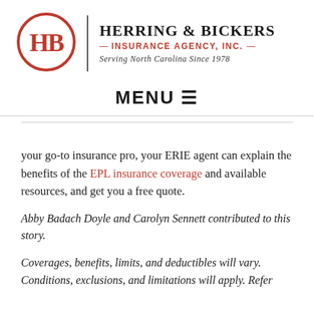[Figure (logo): Herring & Bickers Insurance Agency, Inc. logo with HB in a red circle, agency name, subtitle, and tagline 'Serving North Carolina Since 1978']
MENU ☰
your go-to insurance pro, your ERIE agent can explain the benefits of the EPL insurance coverage and available resources, and get you a free quote.
Abby Badach Doyle and Carolyn Sennett contributed to this story.
Coverages, benefits, limits, and deductibles will vary. Conditions, exclusions, and limitations will apply. Refer